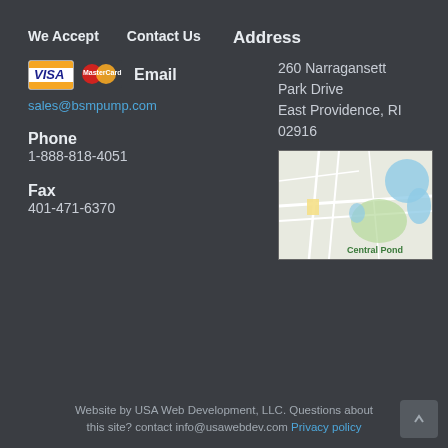We Accept   Contact Us
[Figure (logo): VISA and MasterCard payment logos]
Email
sales@bsmpump.com
Phone
1-888-818-4051
Fax
401-471-6370
Address
260 Narragansett Park Drive East Providence, RI 02916
[Figure (map): Google map showing area near East Providence RI, labeled Central Pond]
Website by USA Web Development, LLC. Questions about this site? contact info@usawebdev.com Privacy policy